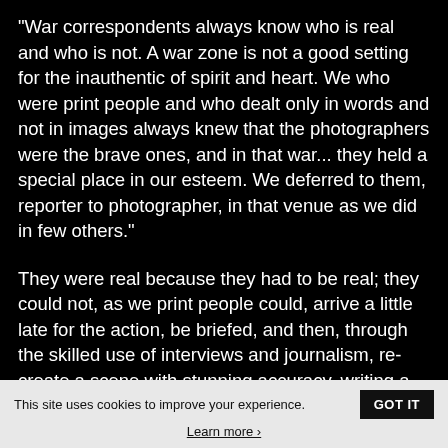"War correspondents always know who is real and who is not. A war zone is not a good setting for the inauthentic of spirit and heart. We who were print people and who dealt only in words and not in images always knew that the photographers were the brave ones, and in that war... they held a special place in our esteem. We deferred to them, reporter to photographer, in that venue as we did in few others."
They were real because they had to be real; they could not, as we print people could, arrive a little late for the action, be briefed, and then, through the skilled use of interviews and journalism, re-create a scene with stunning accuracy, writing a marvelous you-are-there story that reeked of intimacy even though, in truth, we had missed it all. We could miss the fighting and still do our jobs. They could not. There was only one way for them to
This site uses cookies to improve your experience.
GOT IT
Learn more ›